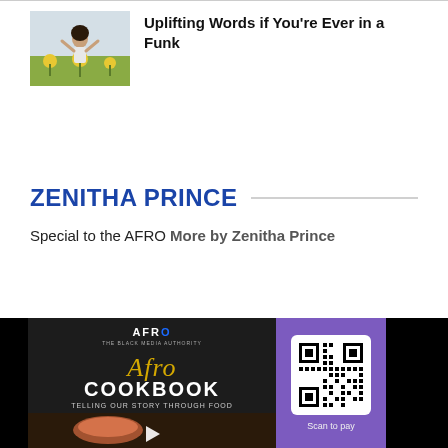[Figure (photo): Woman with arms raised in a field of sunflowers]
Uplifting Words if You're Ever in a Funk
ZENITHA PRINCE
Special to the AFRO More by Zenitha Prince
[Figure (other): Afro Cookbook video thumbnail with play button, and QR code to scan to pay]